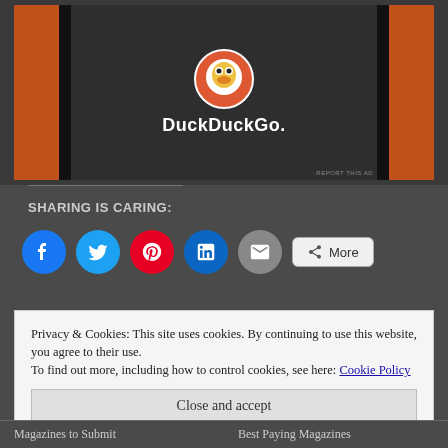[Figure (screenshot): DuckDuckGo advertisement banner with orange sidebar bars and dark center panel showing the DuckDuckGo logo and name]
SHARING IS CARING:
[Figure (infographic): Social sharing buttons row: Facebook (blue circle), Twitter (light blue circle), Pinterest (red circle), LinkedIn (blue circle), Email (gray circle), More button (gray rounded rectangle)]
Loading...
Privacy & Cookies: This site uses cookies. By continuing to use this website, you agree to their use.
To find out more, including how to control cookies, see here: Cookie Policy
Magazines to Submit Best Paying Magazines